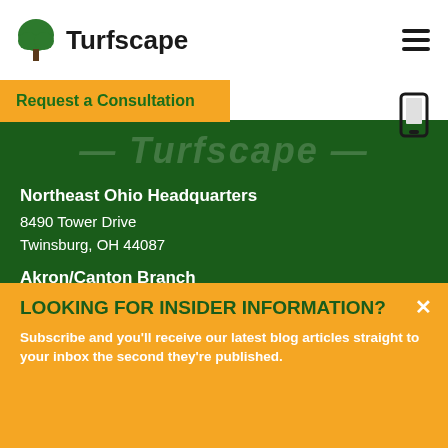Turfscape
Request a Consultation
[Figure (illustration): Turfscape watermark italic text on dark green background]
Northeast Ohio Headquarters
8490 Tower Drive
Twinsburg, OH 44087
Akron/Canton Branch
8357 Cleveland Avenue NW
North Canton, OH 44720
Call Us
(330) 405-7979
[Figure (illustration): Row of 5 white circular social media icons (Facebook, Twitter, Pinterest, Instagram, and another) on dark green background]
LOOKING FOR INSIDER INFORMATION?
Subscribe and you'll receive our latest blog articles straight to your inbox the second they're published.